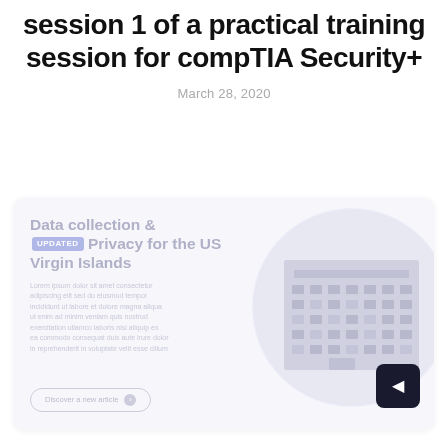session 1 of a practical training session for compTIA Security+
March 28, 2020
[Figure (screenshot): A promotional card/banner with faded text reading 'Data collection & Privacy for the US Virgin Islands' with an UPDATED badge, body text, a rounded button, and a circular image of a building on the right. A dark square navigation button with a right arrow appears in the bottom-right corner.]